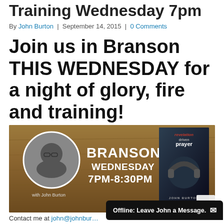Training Wednesday 7pm
By John Burton | September 14, 2015 | 0 Comments
Join us in Branson THIS WEDNESDAY for a night of glory, fire and training!
[Figure (photo): Event promotional banner for Branson Wednesday 7PM-8:30PM with John Burton. Shows a circular portrait photo of John Burton (man with glasses) on a brown wooden texture background, with a book cover for 'revelation driven prayer' by John Burton on the right side.]
Contact me at john@johnbur…